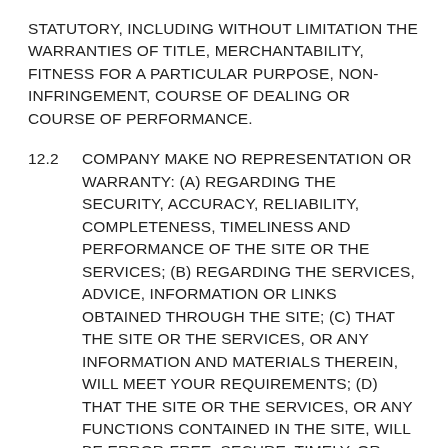STATUTORY, INCLUDING WITHOUT LIMITATION THE WARRANTIES OF TITLE, MERCHANTABILITY, FITNESS FOR A PARTICULAR PURPOSE, NON-INFRINGEMENT, COURSE OF DEALING OR COURSE OF PERFORMANCE.
12.2    COMPANY MAKE NO REPRESENTATION OR WARRANTY: (A) REGARDING THE SECURITY, ACCURACY, RELIABILITY, COMPLETENESS, TIMELINESS AND PERFORMANCE OF THE SITE OR THE SERVICES; (B) REGARDING THE SERVICES, ADVICE, INFORMATION OR LINKS OBTAINED THROUGH THE SITE; (C) THAT THE SITE OR THE SERVICES, OR ANY INFORMATION AND MATERIALS THEREIN, WILL MEET YOUR REQUIREMENTS; (D) THAT THE SITE OR THE SERVICES, OR ANY FUNCTIONS CONTAINED IN THE SITE, WILL BE ERROR-FREE, SECURE, TIMELY, OR UNINTERRUPTED; (E) THAT THE RESULTS THAT MAY BE OBTAINED FROM THE USE